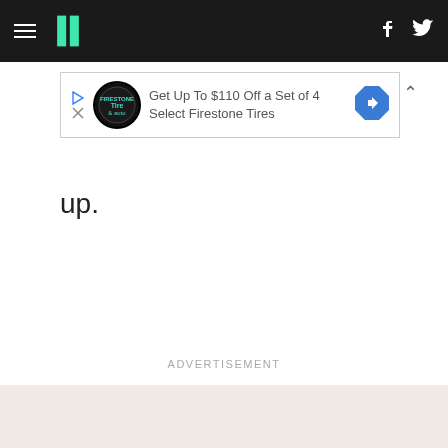HuffPost navigation bar with hamburger menu, logo, Facebook and Twitter icons
[Figure (screenshot): Advertisement banner: 'Get Up To $110 Off a Set of 4 Select Firestone Tires' with Tire Auto logo badge and blue diamond navigation icon]
up.
ADVERTISEMENT